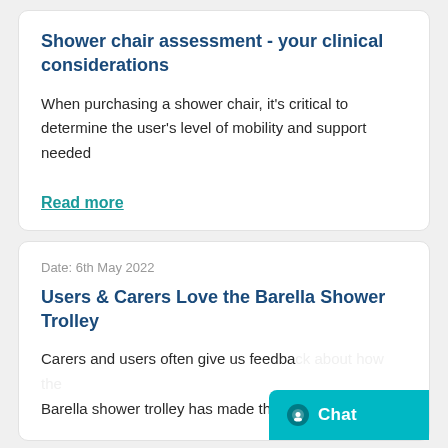Shower chair assessment - your clinical considerations
When purchasing a shower chair, it's critical to determine the user's level of mobility and support needed
Read more
Date: 6th May 2022
Users & Carers Love the Barella Shower Trolley
Carers and users often give us feedba... Barella shower trolley has made the entire bathing